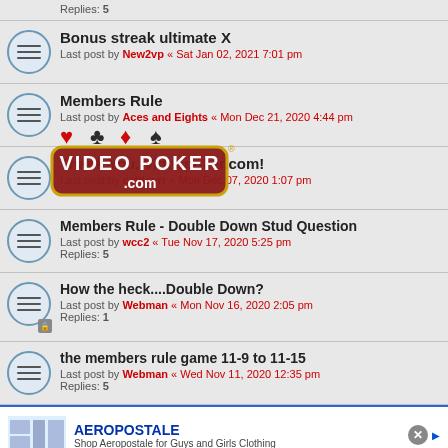Replies: 5
Bonus streak ultimate X
Last post by New2vp « Sat Jan 02, 2021 7:01 pm
[Figure (logo): Videopoker.com logo watermark overlay]
Members Rule
Last post by Aces and Eights « Mon Dec 21, 2020 4:44 pm
Thank You, Videopoker.com!
Last post by cattlovrr « Mon Dec 07, 2020 1:07 pm
Members Rule - Double Down Stud Question
Last post by wcc2 « Tue Nov 17, 2020 5:25 pm
Replies: 5
How the heck....Double Down?
Last post by Webman « Mon Nov 16, 2020 2:05 pm
Replies: 1
the members rule game 11-9 to 11-15
Last post by Webman « Wed Nov 11, 2020 12:35 pm
Replies: 5
AEROPOSTALE – Shop Aeropostale for Guys and Girls Clothing
This site uses cookies for personalized content and analytics. By continuing to use this site, you agree to this use. Close